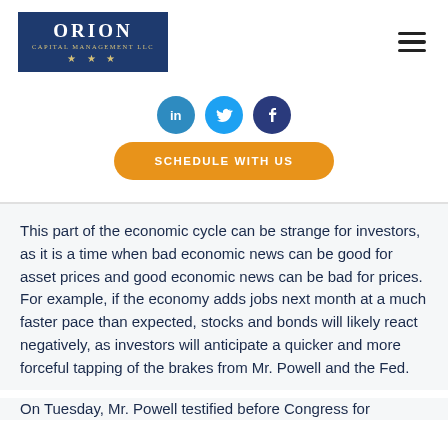[Figure (logo): Orion Capital Management LLC logo — dark navy blue rectangle with white serif text 'ORION', subtitle 'CAPITAL MANAGEMENT LLC', and three gold stars below]
[Figure (infographic): Three social media icon circles: LinkedIn (blue), Twitter (light blue), Facebook (dark blue), and an orange rounded button labeled 'SCHEDULE WITH US']
This part of the economic cycle can be strange for investors, as it is a time when bad economic news can be good for asset prices and good economic news can be bad for prices. For example, if the economy adds jobs next month at a much faster pace than expected, stocks and bonds will likely react negatively, as investors will anticipate a quicker and more forceful tapping of the brakes from Mr. Powell and the Fed.
On Tuesday, Mr. Powell testified before Congress for